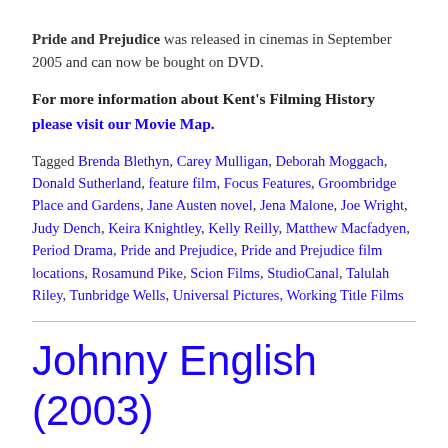Pride and Prejudice was released in cinemas in September 2005 and can now be bought on DVD.
For more information about Kent's Filming History please visit our Movie Map.
Tagged Brenda Blethyn, Carey Mulligan, Deborah Moggach, Donald Sutherland, feature film, Focus Features, Groombridge Place and Gardens, Jane Austen novel, Jena Malone, Joe Wright, Judy Dench, Keira Knightley, Kelly Reilly, Matthew Macfadyen, Period Drama, Pride and Prejudice, Pride and Prejudice film locations, Rosamund Pike, Scion Films, StudioCanal, Talulah Riley, Tunbridge Wells, Universal Pictures, Working Title Films
Johnny English (2003)
Posted on November 2, 2003 by Kent Film Office